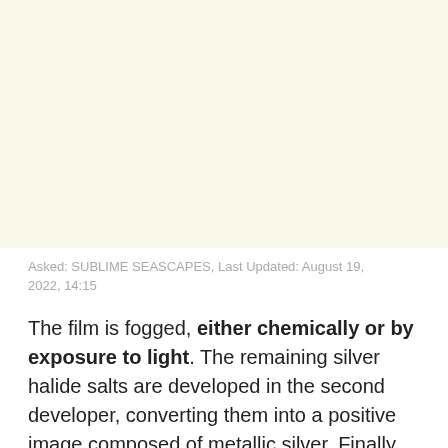[Figure (other): Blank cream/yellow-tinted rectangular area occupying the top portion of the page]
Asked: SUBLIME SEASCAPES, Last Updated: August 19, 2022, 14:15
The film is fogged, either chemically or by exposure to light. The remaining silver halide salts are developed in the second developer, converting them into a positive image composed of metallic silver. Finally, the film is